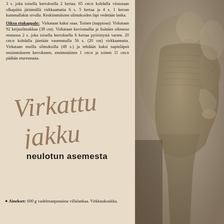3 s. joka toisella kerroksella 2 kertaa. 65 cm:n kohdalla viistotaan olkapäitä jättämällä virkkaamatta 6 s. 5 kertaa ja 4 s. 1 kerran kummallakin sivulla. Keskimmäisten silmukoiden läpi vedetään lanka.
Oikea etukappale: Virkataan kaksi osaa. Toinen (nappiosa): Virkataan 92 ketjusilmukkaa (38 cm). Virkataan kuviomallia ja lisätään oikeassa reunassa 2 s. joka toisella kerroksella 6 kertaa pyöristystä varten. 20 cm:n kohdalla jätetään vasemmalla 56 s. (20 cm) virkkaamatta. Virkataan muilla silmukoilla (48 s.) ja tehdään kaksi napinläpeä ensimmäiseen kerrokseen, ensimmäinen 1 cm:n ja toinen 11 cm:n päähän etureunasta.
● Malli:
Pernelle, Pariisi.
[Figure (illustration): Decorative cursive/script handwritten text reading 'Virkattu jakku' in brown/sepia ink on cream background]
neulotun asemesta
[Figure (photo): Black and white photograph of a woman wearing a crocheted jacket, shown from behind/side angle. The jacket has a textured pattern and short sleeves.]
● Ainekset: 600 g vadelmanpunaista villalankaa. Virkkuukoukku.